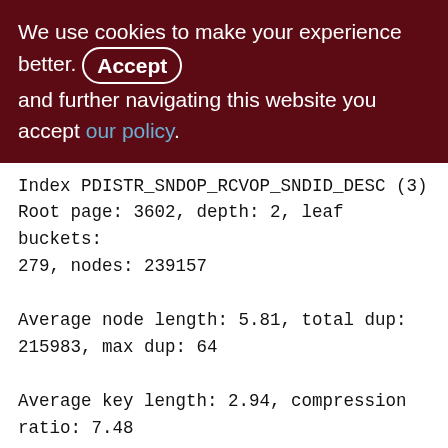We use cookies to make your experience better. By Accepting and further navigating this website you accept our policy.
Index PDISTR_SNDOP_RCVOP_SNDID_DESC (3)
Root page: 3602, depth: 2, leaf buckets: 279, nodes: 239157
Average node length: 5.81, total dup: 215983, max dup: 64
Average key length: 2.94, compression ratio: 7.48
Average prefix length: 21.15, average data length: 0.85
Clustering factor: 37453, ratio: 0.16
Fill distribution:
0 - 19% = 1
20 - 39% = 23